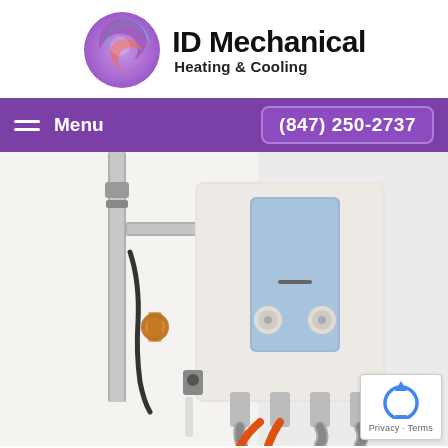[Figure (logo): ID Mechanical Heating & Cooling logo with a swirl graphic in blue, purple, and pink]
Menu   (847) 250-2737
[Figure (photo): Tankless water heater mounted on a white wall with pipes, hoses (including an orange flexible hose), copper fittings, and electrical wiring]
[Figure (other): reCAPTCHA badge with Privacy and Terms text]